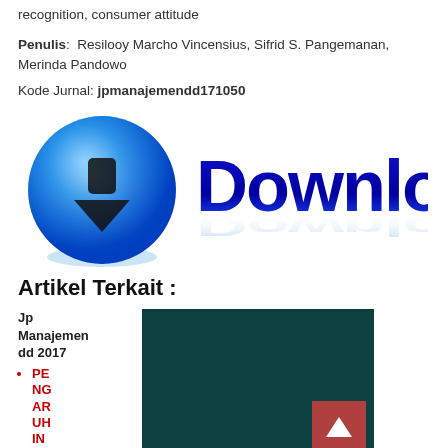recognition, consumer attitude
Penulis: Resilooy Marcho Vincensius, Sifrid S. Pangemanan, Merinda Pandowo
Kode Jurnal: jpmanajemendd171050
[Figure (illustration): Download button graphic with a blue sphere icon on the left and the word 'Download' in large bold blue gradient text on the right]
Artikel Terkait :
Jp Manajemen dd 2017
PENGARUH IN...
[Figure (screenshot): Dark teal/green thumbnail image of a related article, with a back-to-top button (red square with up arrow) in the bottom right corner]